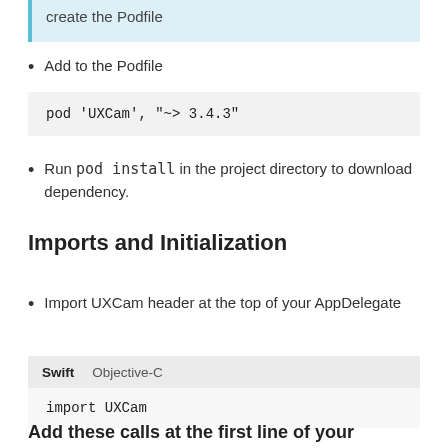create the Podfile
Add to the Podfile
pod 'UXCam', "~> 3.4.3"
Run pod install in the project directory to download dependency.
Imports and Initialization
Import UXCam header at the top of your AppDelegate
Swift | Objective-C
import UXCam
Add these calls at the first line of your